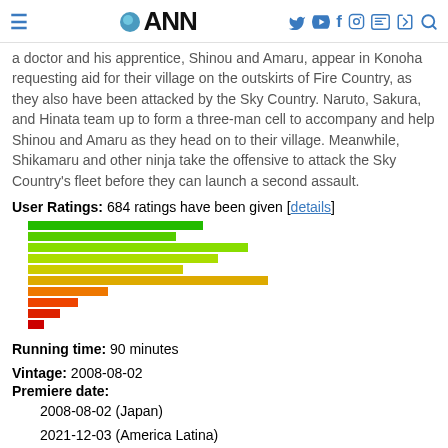ANN (Anime News Network) navigation header
a doctor and his apprentice, Shinou and Amaru, appear in Konoha requesting aid for their village on the outskirts of Fire Country, as they also have been attacked by the Sky Country. Naruto, Sakura, and Hinata team up to form a three-man cell to accompany and help Shinou and Amaru as they head on to their village. Meanwhile, Shikamaru and other ninja take the offensive to attack the Sky Country's fleet before they can launch a second assault.
User Ratings: 684 ratings have been given [details]
[Figure (bar-chart): Horizontal bar chart showing rating distribution with colors from green (high ratings) to red (low ratings)]
Running time: 90 minutes
Vintage: 2008-08-02
Premiere date:
2008-08-02 (Japan)
2021-12-03 (America Latina)
2021-12-04 (Brazil, Claro Video)
Ending Theme: